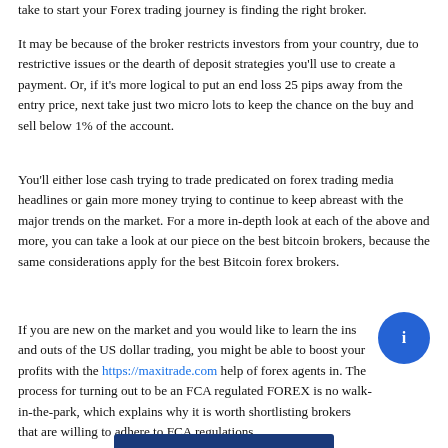take to start your Forex trading journey is finding the right broker.
It may be because of the broker restricts investors from your country, due to restrictive issues or the dearth of deposit strategies you'll use to create a payment. Or, if it's more logical to put an end loss 25 pips away from the entry price, next take just two micro lots to keep the chance on the buy and sell below 1% of the account.
You'll either lose cash trying to trade predicated on forex trading media headlines or gain more money trying to continue to keep abreast with the major trends on the market. For a more in-depth look at each of the above and more, you can take a look at our piece on the best bitcoin brokers, because the same considerations apply for the best Bitcoin forex brokers.
If you are new on the market and you would like to learn the ins and outs of the US dollar trading, you might be able to boost your profits with the https://maxitrade.com help of forex agents in. The process for turning out to be an FCA regulated FOREX is no walk-in-the-park, which explains why it is worth shortlisting brokers that are willing to adhere to FCA regulations.